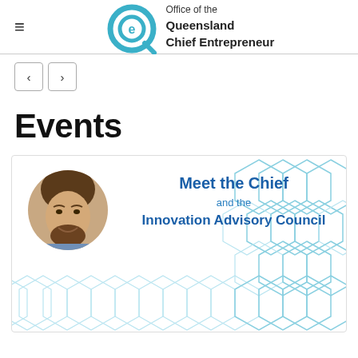Office of the Queensland Chief Entrepreneur
[Figure (logo): Office of the Queensland Chief Entrepreneur circular Q logo with teal color]
[Figure (screenshot): Navigation arrows: left and right arrow buttons]
Events
[Figure (infographic): Event card: Meet the Chief and the Innovation Advisory Council, featuring a photo of a man with beard and hexagonal background pattern in teal/blue]